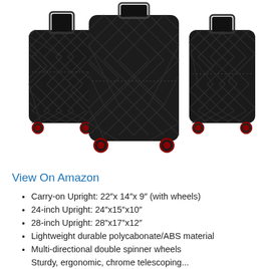[Figure (photo): Three black hardshell luggage pieces with diamond pattern texture and red spinner wheels, shown together as a set (carry-on, medium, large).]
View On Amazon
Carry-on Upright: 22″x 14″x 9″ (with wheels)
24-inch Upright: 24″x15″x10″
28-inch Upright: 28″x17″x12″
Lightweight durable polycabonate/ABS material
Multi-directional double spinner wheels
Sturdy, ergonomic, chrome telescoping...